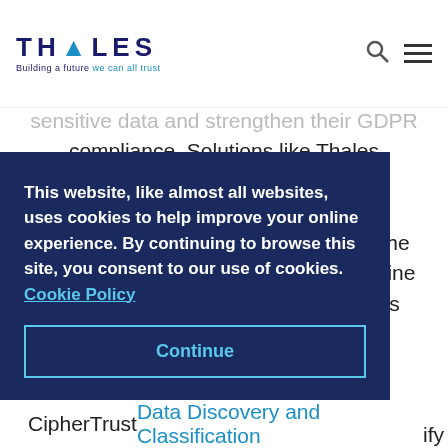THALES – Building a future we can all trust
sensitive data and strengthen their GDPR compliance. Solutions like Thales CipherTrust Data Discovery and Classification allow organisations to discover their sensitive data, assess the risk associated with this data, then define and enforce security policies. Besides being able to facilitate
This website, like almost all websites, uses cookies to help improve your online experience. By continuing to browse this site, you consent to our use of cookies. Cookie Policy
Continue
CipherTrust Data Discovery and Classification